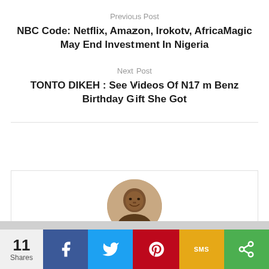Previous Post
NBC Code: Netflix, Amazon, Irokotv, AfricaMagic May End Investment In Nigeria
Next Post
TONTO DIKEH : See Videos Of N17 m Benz Birthday Gift She Got
[Figure (photo): Circular author avatar photo of a man]
11 Shares